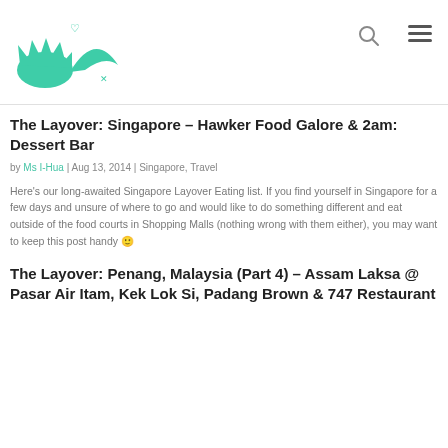Blog header with logo and navigation icons
The Layover: Singapore – Hawker Food Galore & 2am: Dessert Bar
by Ms I-Hua | Aug 13, 2014 | Singapore, Travel
Here's our long-awaited Singapore Layover Eating list. If you find yourself in Singapore for a few days and unsure of where to go and would like to do something different and eat outside of the food courts in Shopping Malls (nothing wrong with them either), you may want to keep this post handy 🙂
The Layover: Penang, Malaysia (Part 4) – Assam Laksa @ Pasar Air Itam, Kek Lok Si, Padang Brown & 747 Restaurant